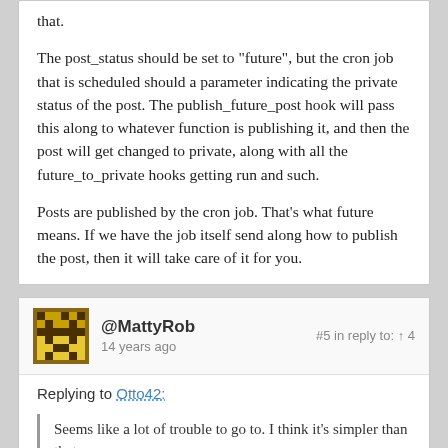that.

The post_status should be set to "future", but the cron job that is scheduled should a parameter indicating the private status of the post. The publish_future_post hook will pass this along to whatever function is publishing it, and then the post will get changed to private, along with all the future_to_private hooks getting run and such.

Posts are published by the cron job. That's what future means. If we have the job itself send along how to publish the post, then it will take care of it for you.
@MattyRob
14 years ago
#5 in reply to: ↑ 4
Replying to Otto42:

Seems like a lot of trouble to go to. I think it's simpler than that.

The post_status should be set to "future", but the cron job that is scheduled should a parameter indicating the pri...